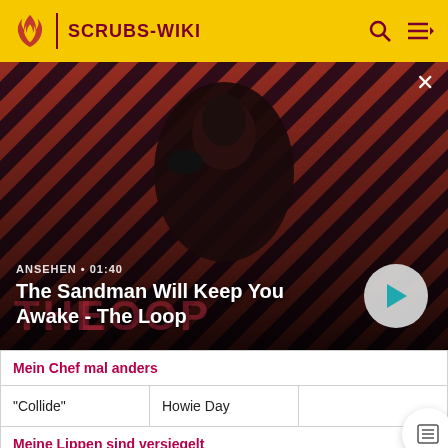SCRUBS-WIKI
[Figure (screenshot): Hero promotional image for 'The Sandman Will Keep You Awake - The Loop' showing a dark figure with a raven on a striped red/dark background, with ANSEHEN • 01:40 label and play button.]
| Mein Chef mal anders |  |  |
| "Collide" | Howie Day |  |
| Meine Lippen sind versiegelt |  |  |
| "Everybody Gets What They | The Churchills |  |